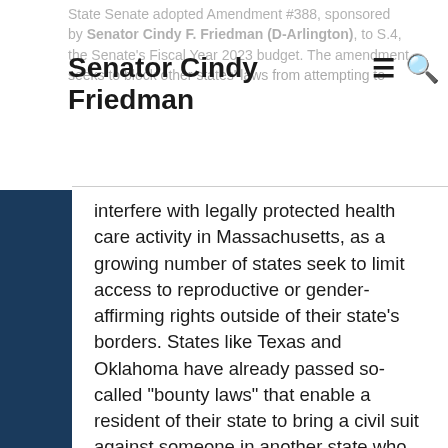Senator Cindy Friedman
State Senate adopted Amendment #388, sponsored by Senator Cindy F. Friedman (D-Arlington), to S.4, the Senate's Fiscal Year 2023 budget. The amendment seeks to block other states' laws from attempting to interfere with legally protected health care activity in Massachusetts, as a growing number of states seek to limit access to reproductive or gender-affirming rights outside of their state's borders. States like Texas and Oklahoma have already passed so-called “bounty laws” that enable a resident of their state to bring a civil suit against someone in another state who provides, aids, or abets a resident of Texas or Oklahoma in receiving an abortion in another state, even if care in that other state is entirely legal.
“We are now faced with a situation where another state, in state laws enacted by their Legislature, is threatening the rights of law-abiding residents in our commonwealth for engaging in activities legal under our laws enacted by our duly elected Legislature here